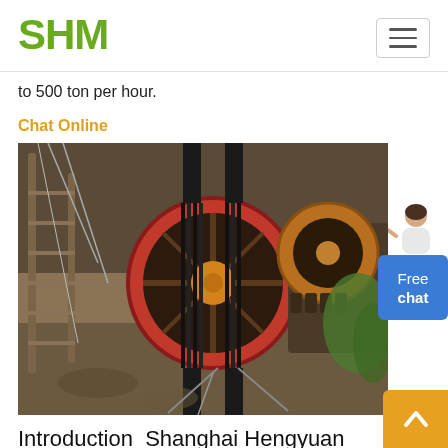SHM
to 500 ton per hour.
Chat Online
[Figure (photo): Industrial jaw crusher machine with large belt pulley wheel and metal framework, photographed outdoors]
Introduction_Shanghai Hengyuan Metallurgical Equipment